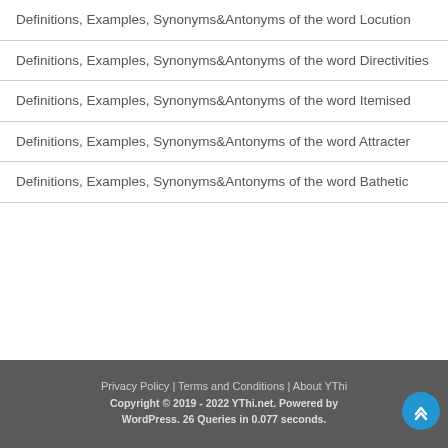Definitions, Examples, Synonyms&Antonyms of the word Locution
Definitions, Examples, Synonyms&Antonyms of the word Directivities
Definitions, Examples, Synonyms&Antonyms of the word Itemised
Definitions, Examples, Synonyms&Antonyms of the word Attracter
Definitions, Examples, Synonyms&Antonyms of the word Bathetic
Privacy Policy | Terms and Conditions | About YThi
Copyright © 2019 - 2022 YThi.net. Powered by WordPress. 26 Queries in 0.077 seconds.